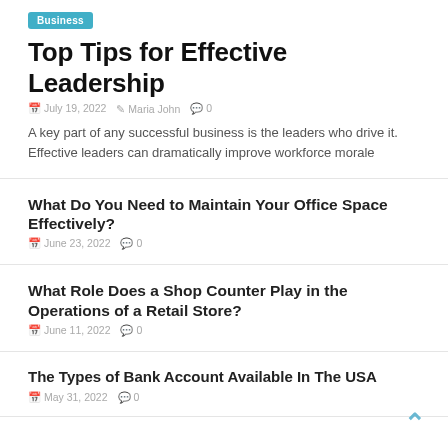Business
Top Tips for Effective Leadership
July 19, 2022  Maria John  0
A key part of any successful business is the leaders who drive it. Effective leaders can dramatically improve workforce morale
What Do You Need to Maintain Your Office Space Effectively?
June 23, 2022  0
What Role Does a Shop Counter Play in the Operations of a Retail Store?
June 11, 2022  0
The Types of Bank Account Available In The USA
May 31, 2022  0